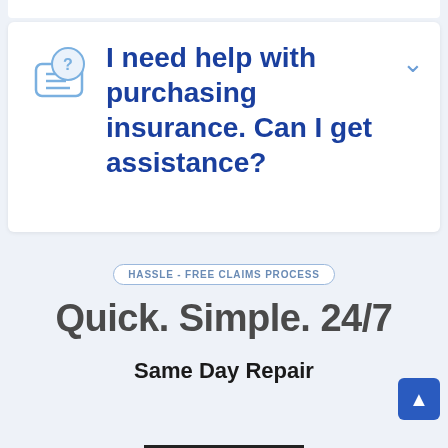I need help with purchasing insurance. Can I get assistance?
HASSLE - FREE CLAIMS PROCESS
Quick. Simple. 24/7
Same Day Repair